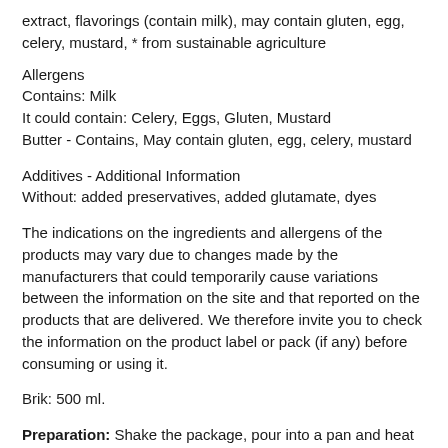extract, flavorings (contain milk), may contain gluten, egg, celery, mustard, * from sustainable agriculture
Allergens
Contains: Milk
It could contain: Celery, Eggs, Gluten, Mustard
Butter - Contains, May contain gluten, egg, celery, mustard
Additives - Additional Information
Without: added preservatives, added glutamate, dyes
The indications on the ingredients and allergens of the products may vary due to changes made by the manufacturers that could temporarily cause variations between the information on the site and that reported on the products that are delivered. We therefore invite you to check the information on the product label or pack (if any) before consuming or using it.
Brik: 500 ml.
Preparation: Shake the package, pour into a pan and heat for a few minutes, stirring.
Nutritional information Per 100 ml of product Per serving **% *